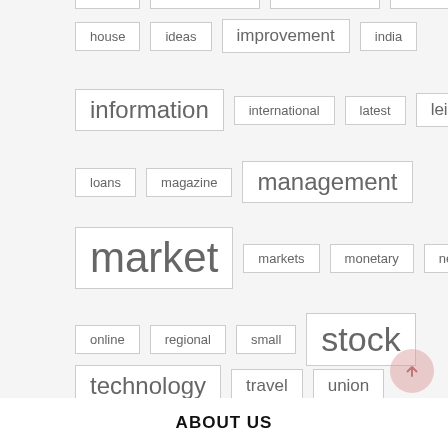house
ideas
improvement
india
information
international
latest
leisure
loans
magazine
management
market
markets
monetary
newest
online
regional
small
stock
technology
travel
union
ABOUT US